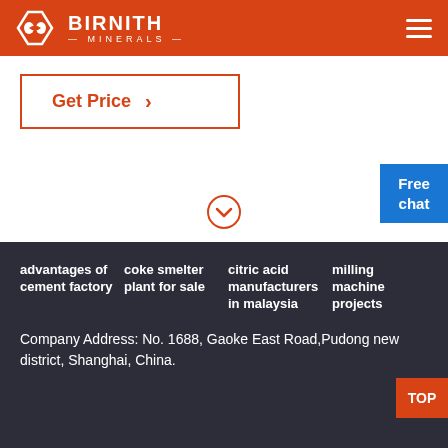[Figure (logo): Birnith Minerals logo with hexagon icon and white text on orange/red background header]
[Figure (other): Get Price button with orange border and arrow]
[Figure (other): Chevron down circle icon in orange]
[Figure (other): Free chat blue button widget on right side]
advantages of cement factory
coke smelter plant for sale
citric acid manufacturers in malaysia
milling machine projects
Company Address: No. 1688, Gaoke East Road,Pudong new district, Shanghai, China.
Copyright ©2000-2022 BIRNITH MINERALS CO.,LTD.
Sitemap